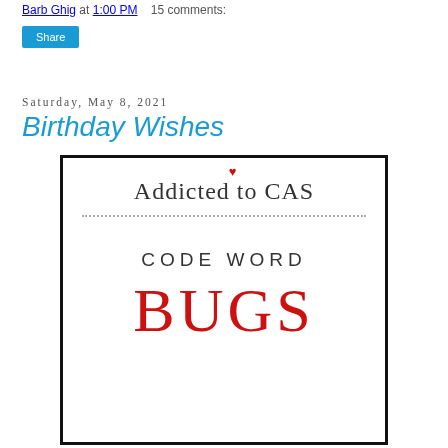Barb Ghig at 1:00 PM    15 comments:
Share
Saturday, May 8, 2021
Birthday Wishes
[Figure (illustration): Addicted to CAS blog challenge card image with dotted divider line, text 'CODE WORD' in dark letters, and 'BUGS' in large red letters. A small red heart appears above the letter 'd' in Addicted.]